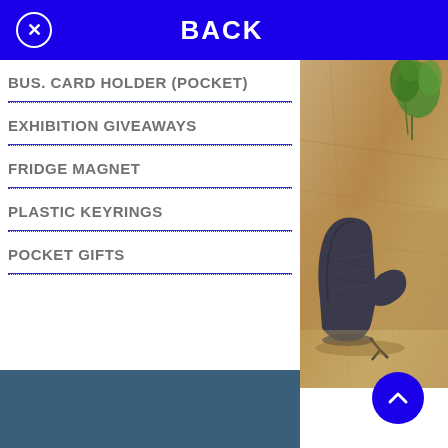BACK
BUS. CARD HOLDER (POCKET)
EXHIBITION GIVEAWAYS
FRIDGE MAGNET
PLASTIC KEYRINGS
POCKET GIFTS
[Figure (photo): Photo of a dark grey oven mitt/kitchen glove on a wooden surface with green plant in background]